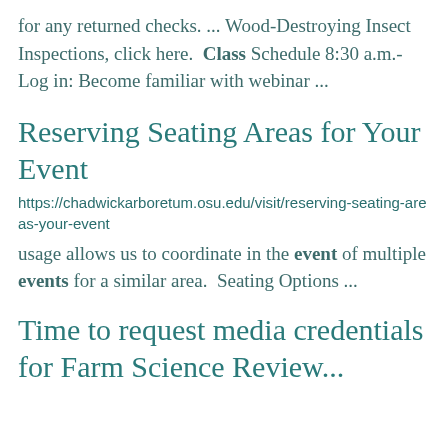for any returned checks. ... Wood-Destroying Insect Inspections, click here.  Class Schedule 8:30 a.m.- Log in: Become familiar with webinar ...
Reserving Seating Areas for Your Event
https://chadwickarboretum.osu.edu/visit/reserving-seating-areas-your-event
usage allows us to coordinate in the event of multiple events for a similar area.  Seating Options ...
Time to request media credentials for Farm Science Review...